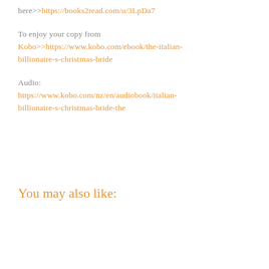here>>https://books2read.com/u/3LpDa7
To enjoy your copy from Kobo>>https://www.kobo.com/ebook/the-italian-billionaire-s-christmas-bride
Audio: https://www.kobo.com/nz/en/audiobook/italian-billionaire-s-christmas-bride-the
You may also like: